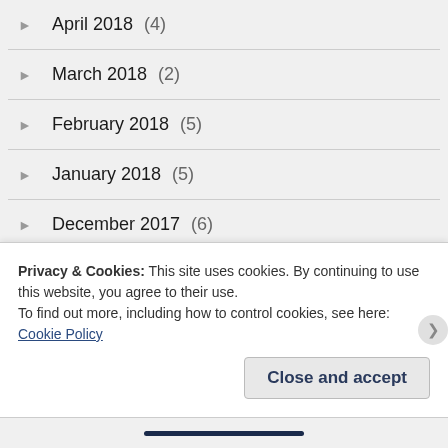April 2018 (4)
March 2018 (2)
February 2018 (5)
January 2018 (5)
December 2017 (6)
November 2017 (9)
October 2017 (5)
September 2017 (5)
Privacy & Cookies: This site uses cookies. By continuing to use this website, you agree to their use.
To find out more, including how to control cookies, see here: Cookie Policy
Close and accept